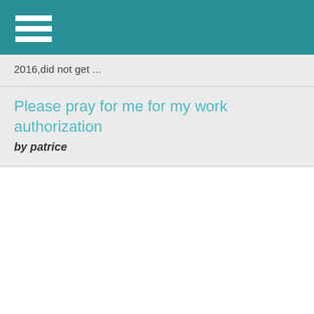[Figure (screenshot): Teal navigation bar with white hamburger menu icon in top-left corner]
2016,did not get ...
Please pray for me for my work authorization
by patrice